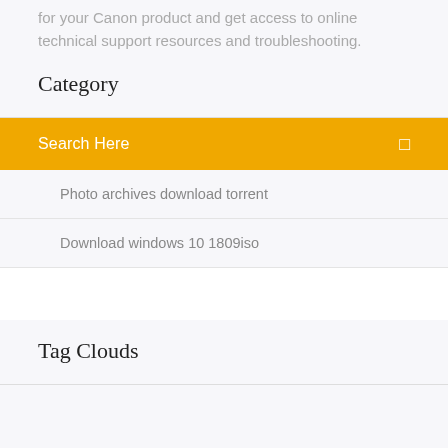for your Canon product and get access to online technical support resources and troubleshooting.
Category
Search Here
Photo archives download torrent
Download windows 10 1809iso
Tag Clouds